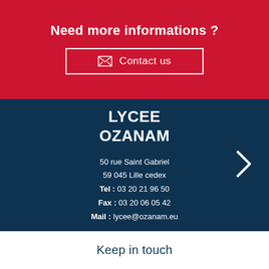Need more informations ?
Contact us
LYCEE OZANAM
50 rue Saint Gabriel
59 045 Lille cedex
Tel : 03 20 21 96 50
Fax : 03 20 06 05 42
Mail : lycee@ozanam.eu
Keep in touch